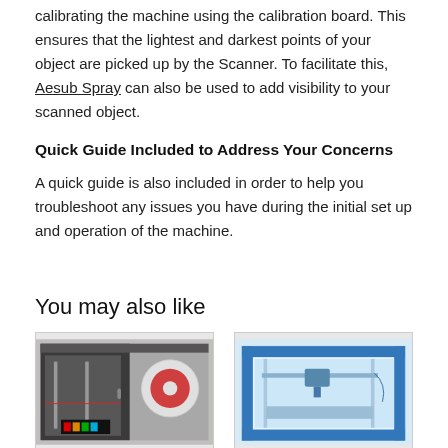calibrating the machine using the calibration board. This ensures that the lightest and darkest points of your object are picked up by the Scanner. To facilitate this, Aesub Spray can also be used to add visibility to your scanned object.
Quick Guide Included to Address Your Concerns
A quick guide is also included in order to help you troubleshoot any issues you have during the initial set up and operation of the machine.
You may also like
[Figure (photo): 3D printer with enclosed frame, red filament spool visible inside, dark gray housing with transparent panel on left side]
[Figure (photo): Blue-framed 3D printer with transparent enclosure, internal components visible]